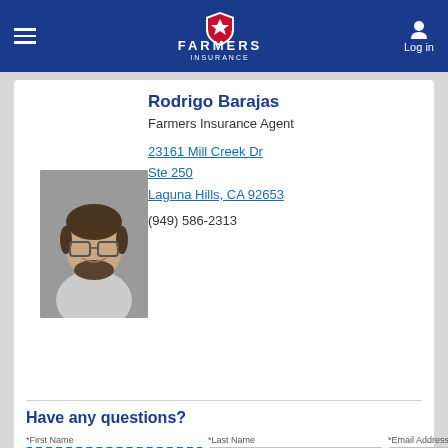[Figure (logo): Farmers Insurance logo in white on dark blue header bar]
[Figure (photo): Headshot photo of Rodrigo Barajas, a man with glasses and a beard, smiling, wearing a light grey shirt]
Rodrigo Barajas
Farmers Insurance Agent
23161 Mill Creek Dr
Ste 250
Laguna Hills, CA 92653
(949) 586-2313
Have any questions?
*First Name | *Last Name | *Email Address (form fields)
Phone | Select State (form fields)
Already a Farmers customer?
Yes   No (radio buttons, No selected)